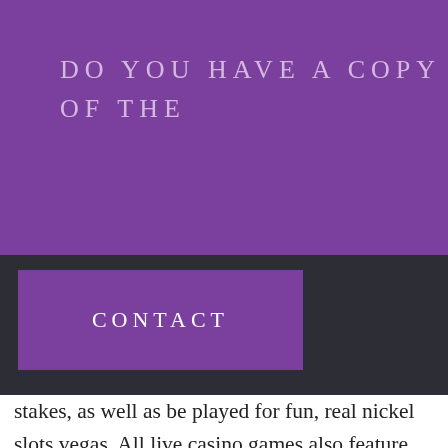Do you have a copy of the
wheel. eted, ards. ey s a ed er than money
[Figure (screenshot): Website navigation bar with purple Contact button, shopping bag icon, and hamburger menu on dark background]
stakes, as well as be played for fun, real nickel slots vegas. All live casino games also feature high-definition cameras that allow you to experience the action right before the eyes. Best of all, you have endless opportunities to interact with the dealer and the players, bitcoin slots winners las vegas. All slot machines come alongside their own pay table, slot machine repair sarasota fl. The paytable displays the worth of each symbol and those that have the most profitability. In order to use this bonus, please make a deposit in case your last